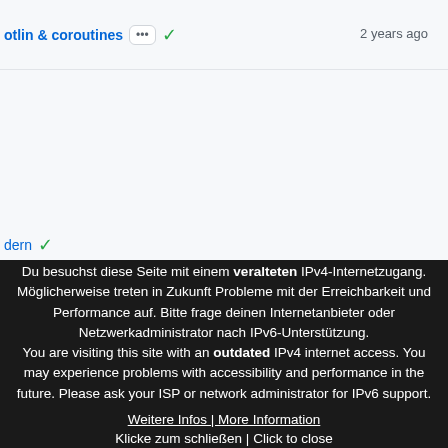otlin & coroutines ... ✓ 2 years ago
dern ✓
Du besuchst diese Seite mit einem veralteten IPv4-Internetzugang. Möglicherweise treten in Zukunft Probleme mit der Erreichbarkeit und Performance auf. Bitte frage deinen Internetanbieter oder Netzwerkadministrator nach IPv6-Unterstützung. You are visiting this site with an outdated IPv4 internet access. You may experience problems with accessibility and performance in the future. Please ask your ISP or network administrator for IPv6 support.
Weitere Infos | More Information
Klicke zum schließen | Click to close